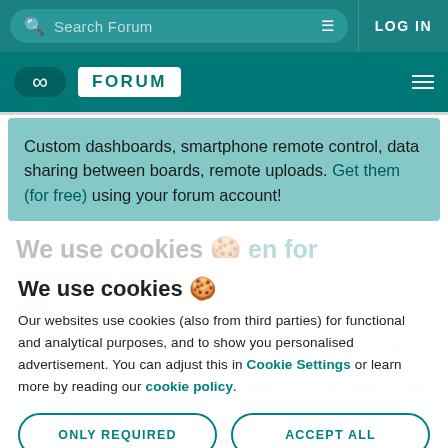Search Forum  LOG IN
FORUM
Custom dashboards, smartphone remote control, data sharing between boards, remote uploads. Get them (for free) using your forum account!
We use cookies 🍪
Our websites use cookies (also from third parties) for functional and analytical purposes, and to show you personalised advertisement. You can adjust this in Cookie Settings or learn more by reading our cookie policy.
ONLY REQUIRED
ACCEPT ALL